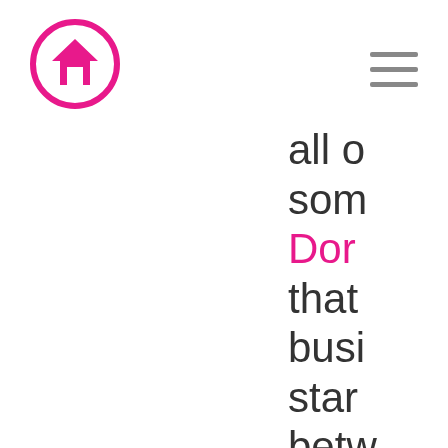[Logo: home icon in pink circle] [hamburger menu icon]
all o som Dore that busi star betw peo 40ye as te mys brin man tho